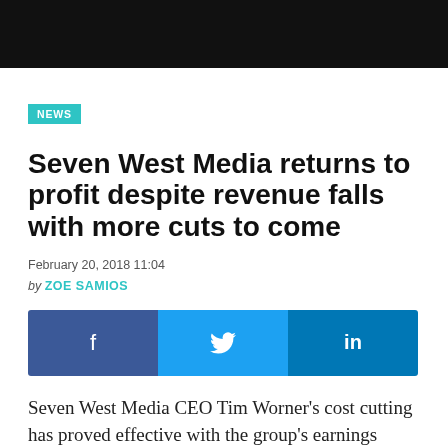NEWS
Seven West Media returns to profit despite revenue falls with more cuts to come
February 20, 2018 11:04
by ZOE SAMIOS
[Figure (infographic): Social sharing buttons: Facebook (f), Twitter (bird icon), LinkedIn (in)]
Seven West Media CEO Tim Worner’s cost cutting has proved effective with the group’s earnings before interest, tax, depreciation and